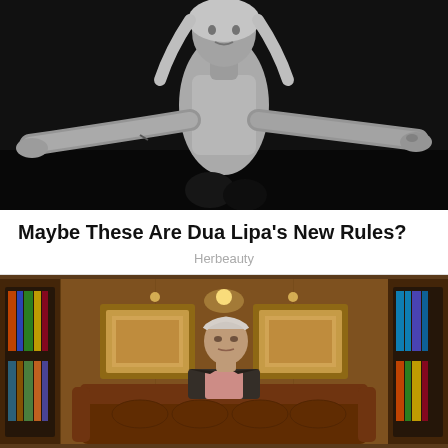[Figure (photo): Black and white photo of Dua Lipa posing with arms spread wide, wearing a white tank top, looking directly at camera against a dark background]
Maybe These Are Dua Lipa's New Rules?
Herbeauty
[Figure (photo): Color photo of an elderly man in a dark suit sitting on a brown leather Chesterfield sofa in a wood-paneled library room with bookshelves and framed paintings on the wall, lit from above]